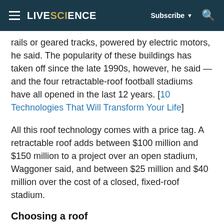LIVESCIENCE | Subscribe | Search
rails or geared tracks, powered by electric motors, he said. The popularity of these buildings has taken off since the late 1990s, however, he said — and the four retractable-roof football stadiums have all opened in the last 12 years. [10 Technologies That Will Transform Your Life]
All this roof technology comes with a price tag. A retractable roof adds between $100 million and $150 million to a project over an open stadium, Waggoner said, and between $25 million and $40 million over the cost of a closed, fixed-roof stadium.
Choosing a roof
So why swallow the extra bill? Basically, an enclosed